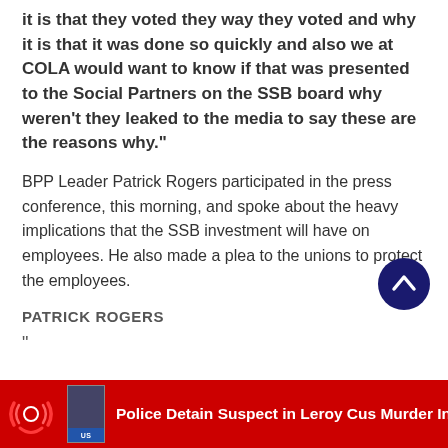it is that they voted they way they voted and why it is that it was done so quickly and also we at COLA would want to know if that was presented to the Social Partners on the SSB board why weren't they leaked to the media to say these are the reasons why."
BPP Leader Patrick Rogers participated in the press conference, this morning, and spoke about the heavy implications that the SSB investment will have on employees. He also made a plea to the unions to protect the employees.
PATRICK ROGERS
”
[Figure (other): Scroll-to-top circular button with upward chevron arrow in dark navy blue]
[Figure (other): Bottom red news banner with circular logo (red/black swirl), a book/magazine thumbnail, and text: Police Detain Suspect in Leroy Cus Murder Investiga...]